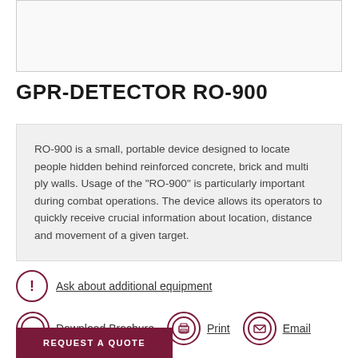[Figure (photo): Top image placeholder box (product image area, light gray background)]
GPR-DETECTOR RO-900
RO-900 is a small, portable device designed to locate people hidden behind reinforced concrete, brick and multi ply walls. Usage of the "RO-900" is particularly important during combat operations. The device allows its operators to quickly receive crucial information about location, distance and movement of a given target.
Ask about additional equipment
Download Brochure   Print   Email
REQUEST A QUOTE